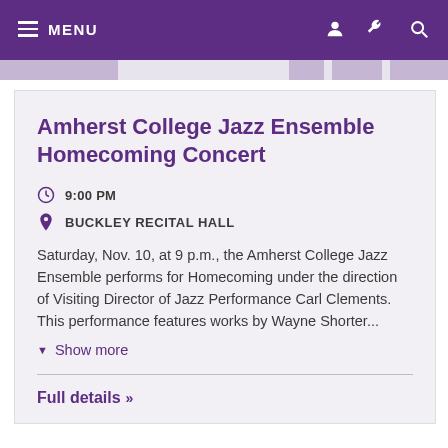MENU
Amherst College Jazz Ensemble Homecoming Concert
9:00 PM
BUCKLEY RECITAL HALL
Saturday, Nov. 10, at 9 p.m., the Amherst College Jazz Ensemble performs for Homecoming under the direction of Visiting Director of Jazz Performance Carl Clements. This performance features works by Wayne Shorter...
Show more
Full details »